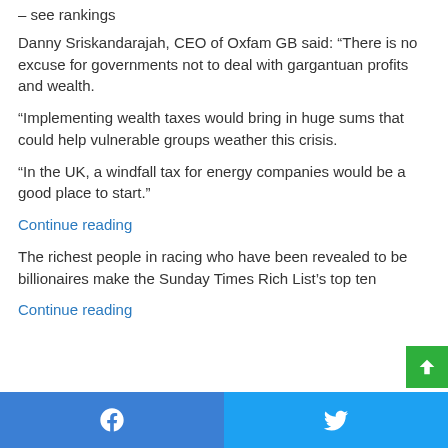– see rankings
Danny Sriskandarajah, CEO of Oxfam GB said: “There is no excuse for governments not to deal with gargantuan profits and wealth.
“Implementing wealth taxes would bring in huge sums that could help vulnerable groups weather this crisis.
“In the UK, a windfall tax for energy companies would be a good place to start.”
Continue reading
The richest people in racing who have been revealed to be billionaires make the Sunday Times Rich List’s top ten
Continue reading